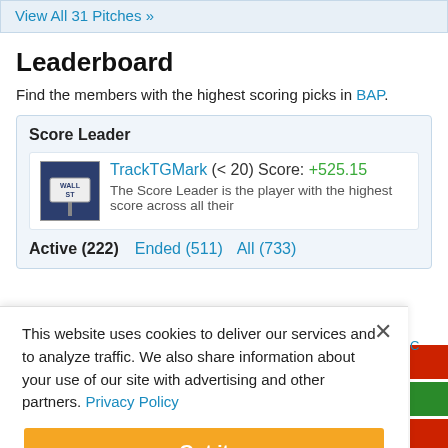View All 31 Pitches »
Leaderboard
Find the members with the highest scoring picks in BAP.
Score Leader
TrackTGMark (< 20) Score: +525.15
The Score Leader is the player with the highest score across all their
Active (222)   Ended (511)   All (733)
This website uses cookies to deliver our services and to analyze traffic. We also share information about your use of our site with advertising and other partners. Privacy Policy
Got it
Cookie Settings